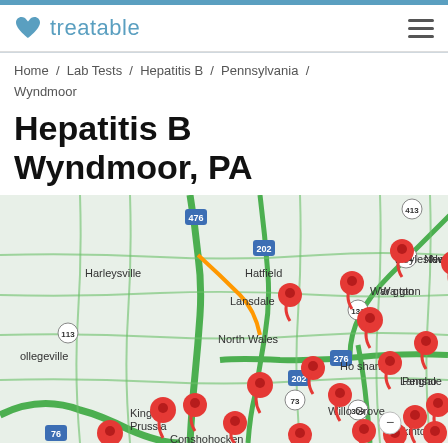treatable
Home / Lab Tests / Hepatitis B / Pennsylvania / Wyndmoor
Hepatitis B Wyndmoor, PA
[Figure (map): Google Maps view of the Wyndmoor, PA area showing multiple red pin markers indicating Hepatitis B lab test locations. Map shows towns including Harleysville, Hatfield, Lansdale, North Wales, Horsham, King of Prussia, Conshohocken, Jenkintown, Doylestown, Washington, Newtown, Lansdale, Collegeville, Willow Grove, Lansdale area. Major highways visible including 476, 202, 76, 276, 309, 611, 132, 113, 73, 413.]